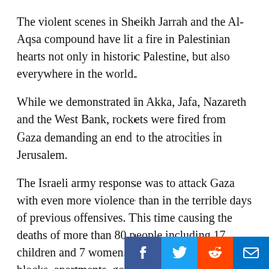The violent scenes in Sheikh Jarrah and the Al-Aqsa compound have lit a fire in Palestinian hearts not only in historic Palestine, but also everywhere in the world.
While we demonstrated in Akka, Jafa, Nazareth and the West Bank, rockets were fired from Gaza demanding an end to the atrocities in Jerusalem.
The Israeli army response was to attack Gaza with even more violence than in the terrible days of previous offensives. This time causing the deaths of more than 80 people including 17 children and 7 women. Bombardments hit tower blocks, apartments, governmental and police buildings and even whole streets. Everyone is seeing it. No one intervenes.
How long will the world just sit idly by while we here in Gaza suffer like this? The people of Gaza need more than just statements and resolutions, while Israel receives the arms which are killing a[people of Gaza]...